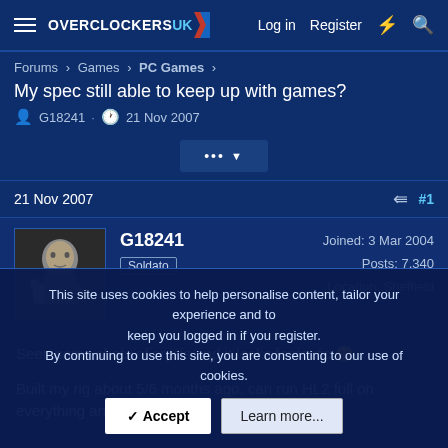Overclockers UK — Log in | Register
Forums > Games > PC Games >
My spec still able to keep up with games?
G18241 · 21 Nov 2007
... ▾
21 Nov 2007   #1
G18241
Soldato
Joined: 3 Mar 2004
Posts: 7,340
Location: Sheffield
Seen some shots of crysis and it looks fantastic 😁

Built my rig about 5/6 months ago, can run HL2 full on everything and
This site uses cookies to help personalise content, tailor your experience and to keep you logged in if you register.
By continuing to use this site, you are consenting to our use of cookies.
✓ Accept   Learn more...